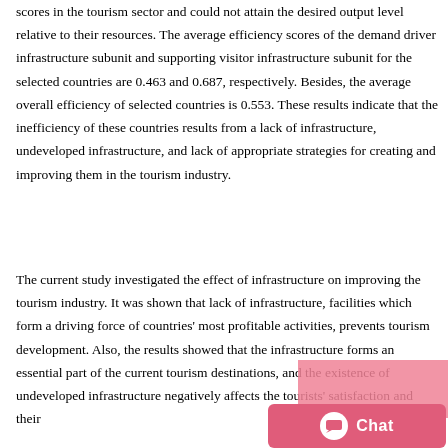scores in the tourism sector and could not attain the desired output level relative to their resources. The average efficiency scores of the demand driver infrastructure subunit and supporting visitor infrastructure subunit for the selected countries are 0.463 and 0.687, respectively. Besides, the average overall efficiency of selected countries is 0.553. These results indicate that the inefficiency of these countries results from a lack of infrastructure, undeveloped infrastructure, and lack of appropriate strategies for creating and improving them in the tourism industry.
The current study investigated the effect of infrastructure on improving the tourism industry. It was shown that lack of infrastructure, facilities which form a driving force of countries' most profitable activities, prevents tourism development. Also, the results showed that the infrastructure forms an essential part of the current tourism destinations, and the existence of undeveloped infrastructure negatively affects the tourists' satisfaction and their